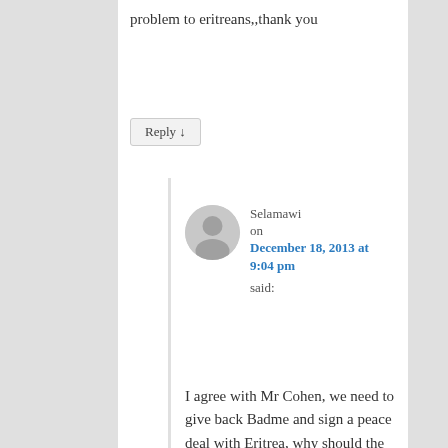problem to eritreans,,thank you
Reply ↓
Selamawi on December 18, 2013 at 9:04 pm said:
I agree with Mr Cohen, we need to give back Badme and sign a peace deal with Eritrea, why should the Ethiopian people pay the price for the blunder of TPLF?